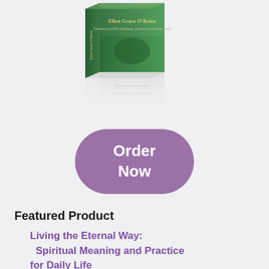[Figure (photo): 3D book cover image showing a green book titled with 'Ellen Grace O'Brien', displayed with a reflective surface below it]
Order Now
Featured Product
Living the Eternal Way: Spiritual Meaning and Practice for Daily Life